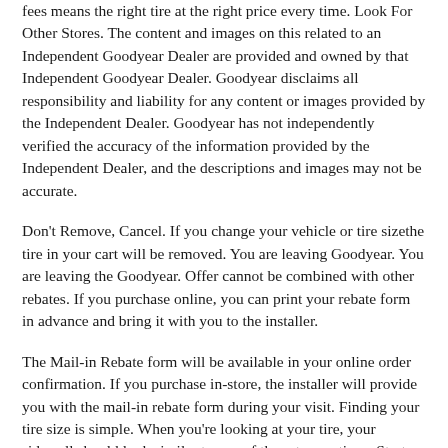fees means the right tire at the right price every time. Look For Other Stores. The content and images on this related to an Independent Goodyear Dealer are provided and owned by that Independent Goodyear Dealer. Goodyear disclaims all responsibility and liability for any content or images provided by the Independent Dealer. Goodyear has not independently verified the accuracy of the information provided by the Independent Dealer, and the descriptions and images may not be accurate.
Don't Remove, Cancel. If you change your vehicle or tire sizethe tire in your cart will be removed. You are leaving Goodyear. You are leaving the Goodyear. Offer cannot be combined with other rebates. If you purchase online, you can print your rebate form in advance and bring it with you to the installer.
The Mail-in Rebate form will be available in your online order confirmation. If you purchase in-store, the installer will provide you with the mail-in rebate form during your visit. Finding your tire size is simple. When you're looking at your tire, your sidewall should look similar to one of these two options. Start entering the first as highlighted below. Enter the second on your tire's sidewall as highlighted below. He up: Some tires might show a like Select the that matches your trailer sidewall. Matching your plate….
Let us guide you there. Locate your tire size information on your